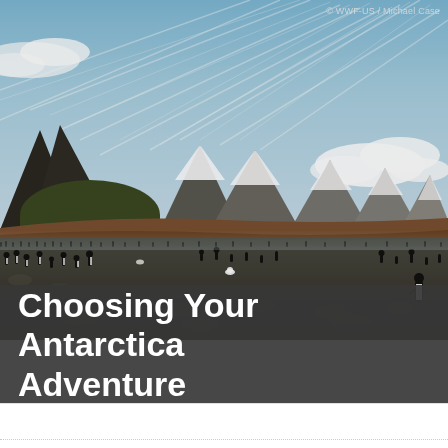[Figure (photo): Wide panoramic photo of a large penguin colony on a rocky beach in Antarctica, with snow-capped mountains in the background and a dramatic sky with streaking clouds above. Hundreds of penguins visible across the rocky landscape.]
© WWF-US / Michael Case
Choosing Your Antarctica Adventure